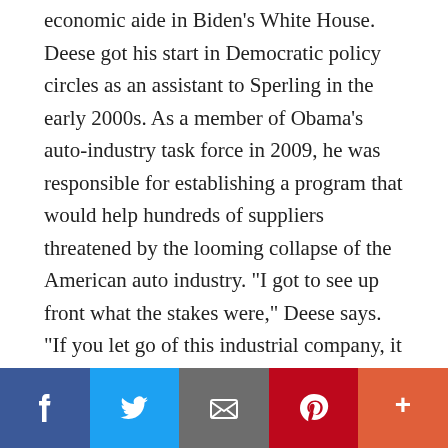economic aide in Biden's White House. Deese got his start in Democratic policy circles as an assistant to Sperling in the early 2000s. As a member of Obama's auto-industry task force in 2009, he was responsible for establishing a program that would help hundreds of suppliers threatened by the looming collapse of the American auto industry. "I got to see up front what the stakes were," Deese says. "If you let go of this industrial company, it directly employs about 50,000 hourly employees. But you also have more than one million jobs and a bunch of spillover economic benefits at stake." He helped persuade Obama to save Chrysler over the opposition of some of the president's economists.
[Figure (infographic): Social media sharing bar with five buttons: Facebook (blue), Twitter (light blue), Email (gray), Pinterest (red), More (orange-red)]